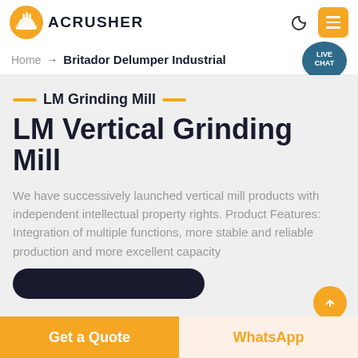ACRUSHER
Home → Britador Delumper Industrial
LM Grinding Mill
LM Vertical Grinding Mill
We have successively launched vertical mill products with independent intellectual property rights. Product Features: Integration of multiple functions, more stable and reliable production and more excellent capacity
Get a Quote
WhatsApp